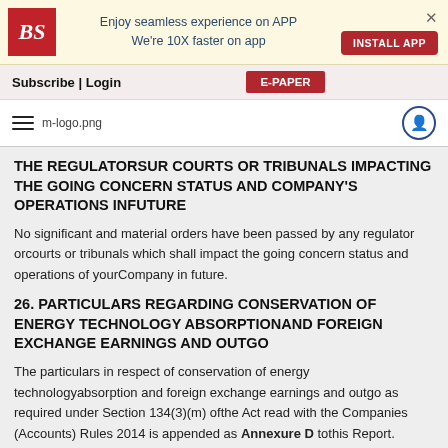[Figure (screenshot): Business Standard app banner with BS logo, text 'Enjoy seamless experience on APP We're 10X faster on app', INSTALL APP button, and close X]
Subscribe | Login   E-PAPER
[Figure (logo): Hamburger menu, m-logo.png, user icon on right]
THE REGULATORSUR COURTS OR TRIBUNALS IMPACTING THE GOING CONCERN STATUS AND COMPANY'S OPERATIONS INFUTURE
No significant and material orders have been passed by any regulator orcourts or tribunals which shall impact the going concern status and operations of yourCompany in future.
26. PARTICULARS REGARDING CONSERVATION OF ENERGY TECHNOLOGY ABSORPTIONAND FOREIGN EXCHANGE EARNINGS AND OUTGO
The particulars in respect of conservation of energy technologyabsorption and foreign exchange earnings and outgo as required under Section 134(3)(m) ofthe Act read with the Companies (Accounts) Rules 2014 is appended as Annexure D tothis Report.